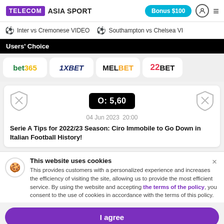TELECOM ASIA SPORT | Bonus $100
Inter vs Cremonese VIDEO  Southampton vs Chelsea VI
Users' Choice
[Figure (logo): Bookmaker logos row: bet365, 1XBET, MELBET, 22BET]
[Figure (infographic): Match card showing O: 5,60 score badge, two shield icons, date 04 Jun 2023 20:00]
Serie A Tips for 2022/23 Season: Ciro Immobile to Go Down in Italian Football History!
This website uses cookies
This provides customers with a personalized experience and increases the efficiency of visiting the site, allowing us to provide the most efficient service. By using the website and accepting the terms of the policy, you consent to the use of cookies in accordance with the terms of this policy.
I agree